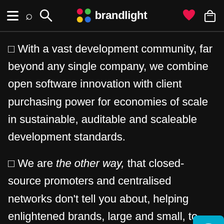brandlight — navigation bar with hamburger, search, logo, heart, and cart icons
□ With a vast development community, far beyond any single company, we combine open software innovation with client purchasing power for economies of scale in sustainable, auditable and scaleable development standards.
□ We are the other way, that closed-source promoters and centralised networks don't tell you about, helping enlightened brands, large and small, to see the light online.